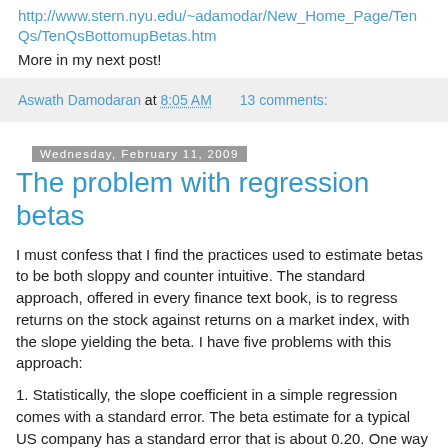http://www.stern.nyu.edu/~adamodar/New_Home_Page/TenQs/TenQsBottomupBetas.htm
More in my next post!
Aswath Damodaran at 8:05 AM    13 comments:
Wednesday, February 11, 2009
The problem with regression betas
I must confess that I find the practices used to estimate betas to be both sloppy and counter intuitive. The standard approach, offered in every finance text book, is to regress returns on the stock against returns on a market index, with the slope yielding the beta. I have five problems with this approach:
1. Statistically, the slope coefficient in a simple regression comes with a standard error. The beta estimate for a typical US company has a standard error that is about 0.20. One way to read this number, is when you are told that the beta